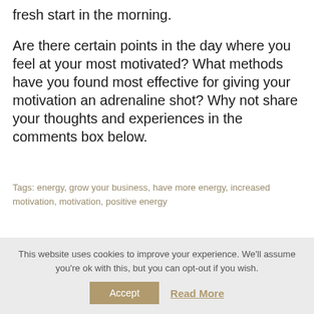fresh start in the morning.
Are there certain points in the day where you feel at your most motivated? What methods have you found most effective for giving your motivation an adrenaline shot? Why not share your thoughts and experiences in the comments box below.
Tags: energy, grow your business, have more energy, increased motivation, motivation, positive energy
This website uses cookies to improve your experience. We'll assume you're ok with this, but you can opt-out if you wish.